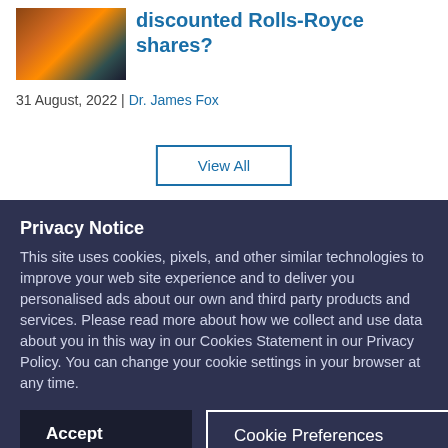[Figure (photo): Thumbnail photo of an aircraft at sunset with warm orange tones]
discounted Rolls-Royce shares?
31 August, 2022 | Dr. James Fox
View All
Privacy Notice
This site uses cookies, pixels, and other similar technologies to improve your web site experience and to deliver you personalised ads about our own and third party products and services. Please read more about how we collect and use data about you in this way in our Cookies Statement in our Privacy Policy. You can change your cookie settings in your browser at any time.
Accept
Cookie Preferences